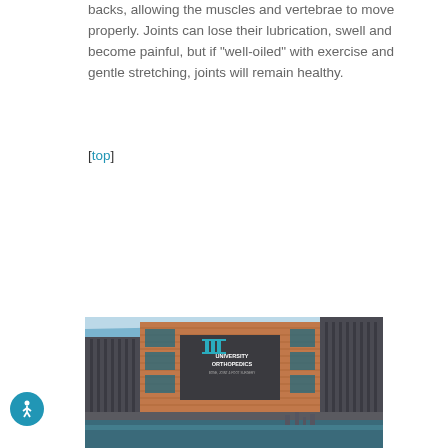backs, allowing the muscles and vertebrae to move properly. Joints can lose their lubrication, swell and become painful, but if "well-oiled" with exercise and gentle stretching, joints will remain healthy.
[top]
[Figure (photo): Exterior photograph of a modern multi-story University Orthopedics building with brick cladding, large windows, and a sign reading 'UNIVERSITY ORTHOPEDICS' with a logo. Blue sky with light clouds in the background.]